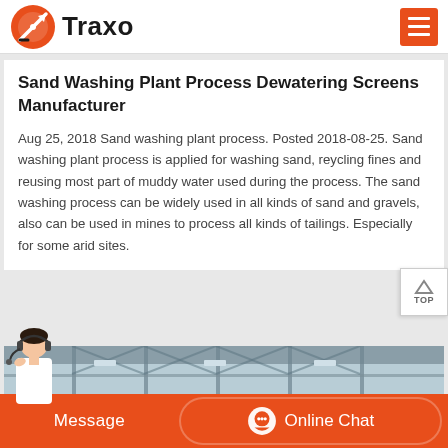[Figure (logo): Traxo company logo with orange circular rocket icon and bold black text 'Traxo']
Sand Washing Plant Process Dewatering Screens Manufacturer
Aug 25, 2018 Sand washing plant process. Posted 2018-08-25. Sand washing plant process is applied for washing sand, reycling fines and reusing most part of muddy water used during the process. The sand washing process can be widely used in all kinds of sand and gravels, also can be used in mines to process all kinds of tailings. Especially for some arid sites.
[Figure (photo): Interior of an industrial factory or plant with steel ceiling structure and large equipment visible]
[Figure (illustration): Customer service representative with headset]
Message
Online Chat